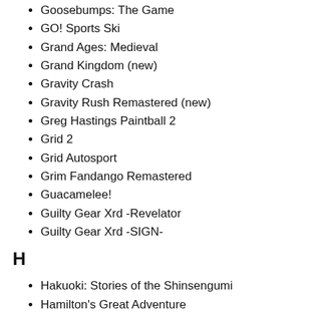Goosebumps: The Game
GO! Sports Ski
Grand Ages: Medieval
Grand Kingdom (new)
Gravity Crash
Gravity Rush Remastered (new)
Greg Hastings Paintball 2
Grid 2
Grid Autosport
Grim Fandango Remastered
Guacamelee!
Guilty Gear Xrd -Revelator
Guilty Gear Xrd -SIGN-
H
Hakuoki: Stories of the Shinsengumi
Hamilton's Great Adventure
Hamsterball
Handball 16
Hardware Rivals (new)
Heavenly Sword